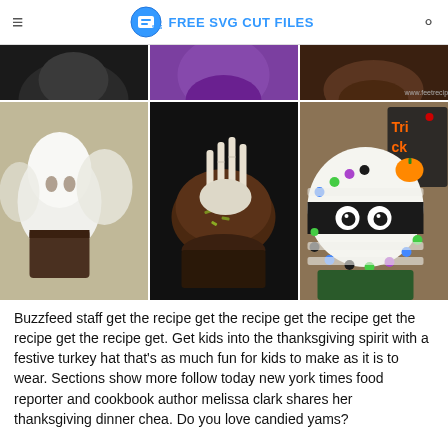FREE SVG CUT FILES
[Figure (photo): A 3x2 grid of Halloween-themed cupcake photos. Top row partially cropped: dark cupcake, purple-wrapper cupcake, chocolate cupcake. Bottom row: ghost-topped white cupcakes, skeleton-hand chocolate cupcake, mummy-decorated cupcake with googly eyes and colorful dots.]
Buzzfeed staff get the recipe get the recipe get the recipe get the recipe get the recipe get. Get kids into the thanksgiving spirit with a festive turkey hat that's as much fun for kids to make as it is to wear. Sections show more follow today new york times food reporter and cookbook author melissa clark shares her thanksgiving dinner chea. Do you love candied yams?